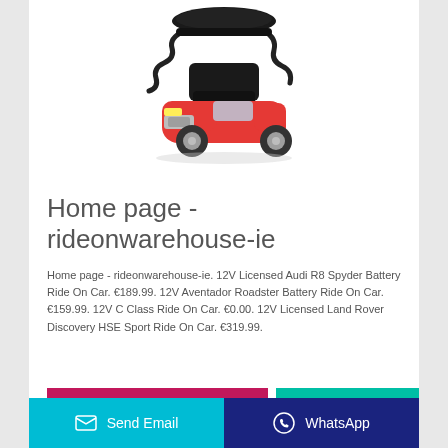[Figure (photo): Red toy car ride-on with a black overhead canopy/handle structure mounted on top, resembling a Bentley style vehicle]
Home page - rideonwarehouse-ie
Home page - rideonwarehouse-ie. 12V Licensed Audi R8 Spyder Battery Ride On Car. €189.99. 12V Aventador Roadster Battery Ride On Car. €159.99. 12V C Class Ride On Car. €0.00. 12V Licensed Land Rover Discovery HSE Sport Ride On Car. €319.99.
Send Email | WhatsApp